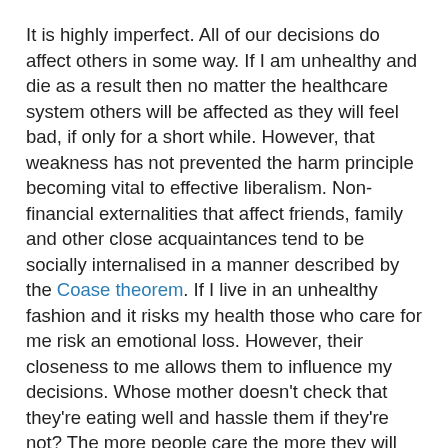It is highly imperfect. All of our decisions do affect others in some way. If I am unhealthy and die as a result then no matter the healthcare system others will be affected as they will feel bad, if only for a short while. However, that weakness has not prevented the harm principle becoming vital to effective liberalism. Non-financial externalities that affect friends, family and other close acquaintances tend to be socially internalised in a manner described by the Coase theorem. If I live in an unhealthy fashion and it risks my health those who care for me risk an emotional loss. However, their closeness to me allows them to influence my decisions. Whose mother doesn't check that they're eating well and hassle them if they're not? The more people care the more they will socially police behaviour.
These kinds of strategies allow for the harm principle to function despite its theoretical weaknesses. As a result, an approximated version of Mill's sphere, allowing choices that have societal effects smaller than a certain magnitude, is an important popular justification for liberalism. It is the best